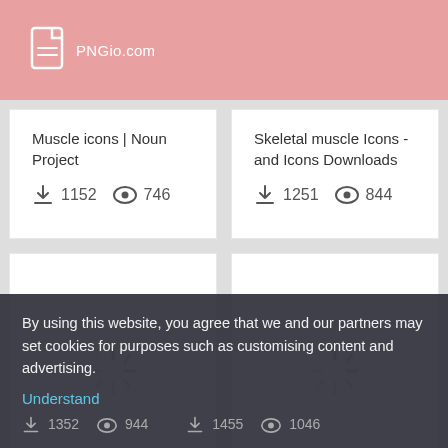PNGio.com
Muscle icons | Noun Project
1152  746
Skeletal muscle Icons - and Icons Downloads
1251  844
[Figure (other): Loading spinner icon]
[Figure (other): Loading spinner icon]
1352  944
1455  1046
By using this website, you agree that we and our partners may set cookies for purposes such as customising content and advertising.
Understand